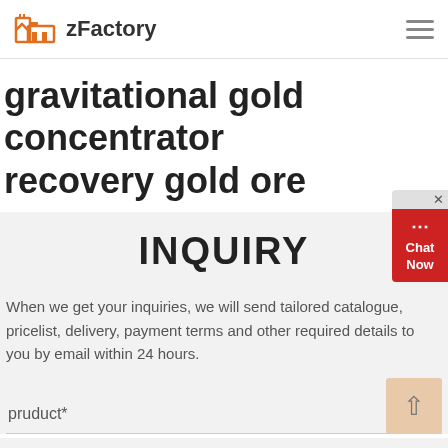zFactory
gravitational gold concentrator recovery gold ore
INQUIRY
When we get your inquiries, we will send tailored catalogue, pricelist, delivery, payment terms and other required details to you by email within 24 hours.
pruduct*
Application*
Quantity*